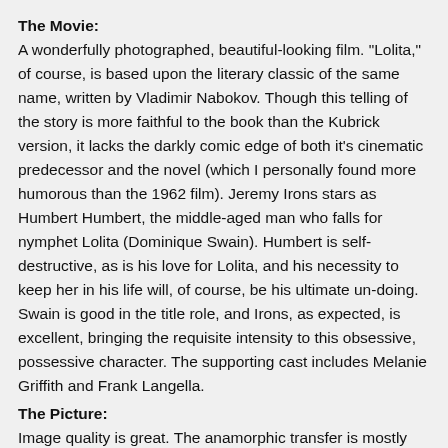The Movie:
A wonderfully photographed, beautiful-looking film. "Lolita," of course, is based upon the literary classic of the same name, written by Vladimir Nabokov. Though this telling of the story is more faithful to the book than the Kubrick version, it lacks the darkly comic edge of both it's cinematic predecessor and the novel (which I personally found more humorous than the 1962 film). Jeremy Irons stars as Humbert Humbert, the middle-aged man who falls for nymphet Lolita (Dominique Swain). Humbert is self-destructive, as is his love for Lolita, and his necessity to keep her in his life will, of course, be his ultimate un-doing. Swain is good in the title role, and Irons, as expected, is excellent, bringing the requisite intensity to this obsessive, possessive character. The supporting cast includes Melanie Griffith and Frank Langella.
The Picture:
Image quality is great. The anamorphic transfer is mostly stunning and sharply detailed, with rich colors. Slight compression artifacts are at times noticeable.